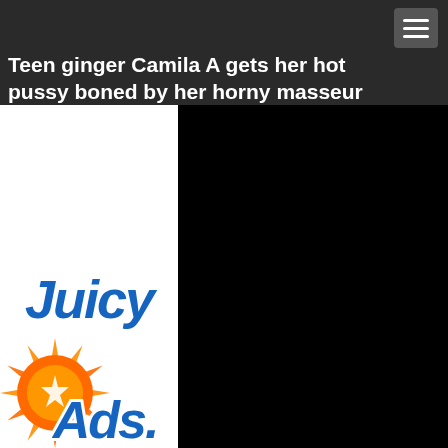Teen ginger Camila A gets her hot pussy boned by her horny masseur
[Figure (logo): JuicyAds logo: stylized blue bubble-letter text 'Juicy Ads' with an orange starburst graphic beneath, on white background]